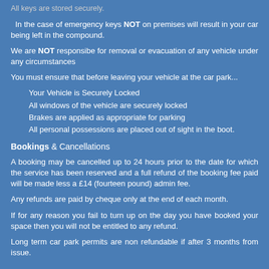All keys are stored securely.
In the case of emergency keys NOT on premises will result in your car being left in the compound.
We are NOT responsibe for removal or evacuation of any vehicle under any circumstances
You must ensure that before leaving your vehicle at the car park...
Your Vehicle is Securely Locked
All windows of the vehicle are securely locked
Brakes are applied as appropriate for parking
All personal possessions are placed out of sight in the boot.
Bookings & Cancellations
A booking may be cancelled up to 24 hours prior to the date for which the service has been reserved and a full refund of the booking fee paid will be made less a £14 (fourteen pound) admin fee.
Any refunds are paid by cheque only at the end of each month.
If for any reason you fail to turn up on the day you have booked your space then you will not be entitled to any refund.
Long term car park permits are non refundable if after 3 months from issue.